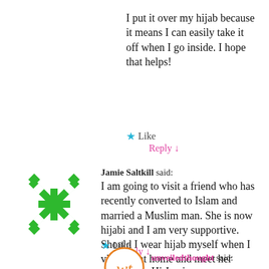I put it over my hijab because it means I can easily take it off when I go inside. I hope that helps!
Like  Reply ↓
[Figure (logo): Green decorative snowflake/geometric avatar icon]
Jamie Saltkill said: I am going to visit a friend who has recently converted to Islam and married a Muslim man. She is now hijabi and I am very supportive. Should I wear hijab myself when I visit her at home and meet her husband?
Like  Reply ↓
unveiledthought said: Hi Jamie
[Figure (logo): Orange handwritten-style avatar icon]